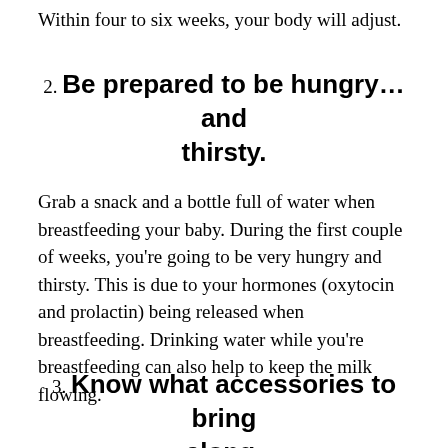Within four to six weeks, your body will adjust.
2. Be prepared to be hungry… and thirsty.
Grab a snack and a bottle full of water when breastfeeding your baby. During the first couple of weeks, you're going to be very hungry and thirsty. This is due to your hormones (oxytocin and prolactin) being released when breastfeeding. Drinking water while you're breastfeeding can also help to keep the milk flowing.
3. Know what accessories to bring along.